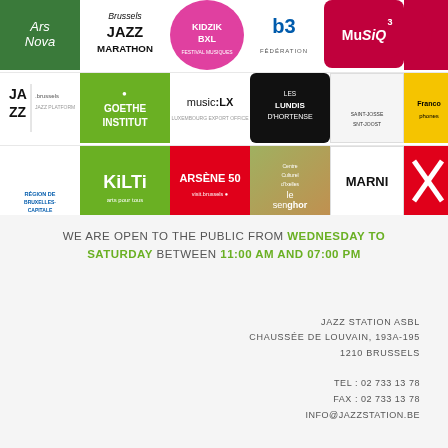[Figure (logo): Grid of sponsor and partner logos including Ars Nova, Brussels Jazz Marathon, Kidzik BXL, RTBF Federation, Musiq3, Jazz Brussels Platform, Goethe Institut, music:LX, Les Lundis d'Hortense, Saint-Josse, Francophones Brussels, Région de Bruxelles-Capitale, Kilti, Arsène 50, Le Senghor Centre Culturel, Marni]
WE ARE OPEN TO THE PUBLIC FROM WEDNESDAY TO SATURDAY BETWEEN 11:00 AM AND 07:00 PM
JAZZ STATION ASBL
CHAUSSÉE DE LOUVAIN, 193A-195
1210 BRUSSELS

TEL : 02 733 13 78
FAX : 02 733 13 78
INFO@JAZZSTATION.BE